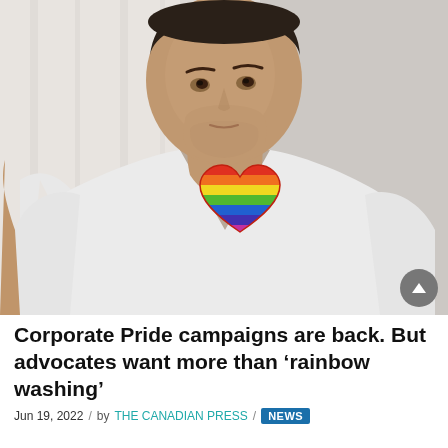[Figure (photo): A man wearing a white t-shirt with a rainbow pride heart logo on the chest, looking off to the side. Background appears to be light curtains or a neutral indoor setting.]
Corporate Pride campaigns are back. But advocates want more than 'rainbow washing'
Jun 19, 2022 / by THE CANADIAN PRESS / NEWS